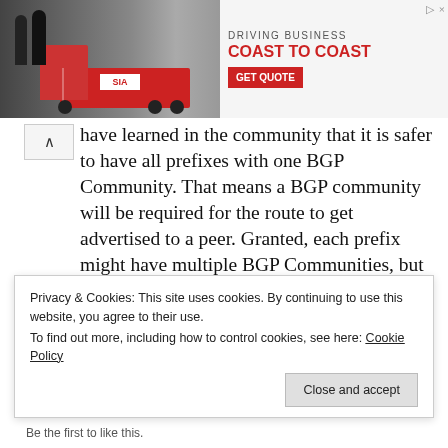[Figure (screenshot): Advertisement banner: Saia trucking company ad with photo of workers and truck, text 'DRIVING BUSINESS COAST TO COAST' with GET QUOTE button]
have learned in the community that it is safer to have all prefixes with one BGP Community. That means a BGP community will be required for the route to get advertised to a peer. Granted, each prefix might have multiple BGP Communities, but the requirement that each must have at least one BGP community
Share this:
[Figure (screenshot): Row of social media sharing icon buttons: Twitter, Facebook, LinkedIn, share, Tumblr, Pinterest, WhatsApp, email, print]
Privacy & Cookies: This site uses cookies. By continuing to use this website, you agree to their use.
To find out more, including how to control cookies, see here: Cookie Policy
Close and accept
Be the first to like this.